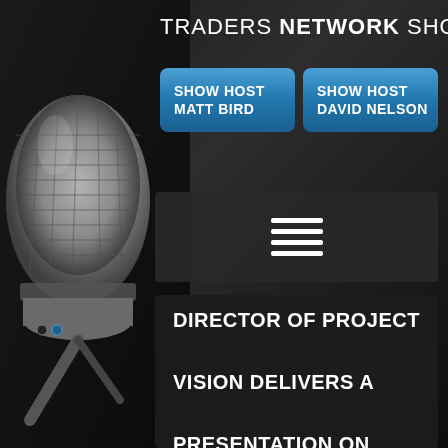[Figure (illustration): Studio condenser microphone in silver/chrome finish on dark background, photographic image occupying the left portion of the page]
TRADERS NETWORK Show
SHOW HOST MATT BIRD
SHOW HOST DAVID NELSON
[Figure (infographic): Hamburger/menu icon with three white horizontal lines on dark grey background]
DIRECTOR OF PROJECT VISION DELIVERS A PRESENTATION ON REMAPPING OUR